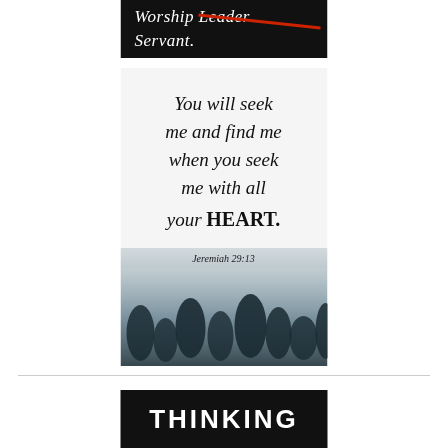[Figure (illustration): Black background image with handwritten-style text showing 'Worship Leader' with Leader crossed out in red, and 'Servant.' written below it in white chalk-like font.]
[Figure (illustration): Inspirational quote image with dark misty forest background. Text reads: 'You will seek me and find me when you seek me with all your HEART. Jeremiah 29:13' in black cursive/script font on white background fading to foggy forest.]
[Figure (illustration): Partial view of a black rectangle with large white bold uppercase text 'THINKING' — appears to be the top portion of a motivational or section header image.]